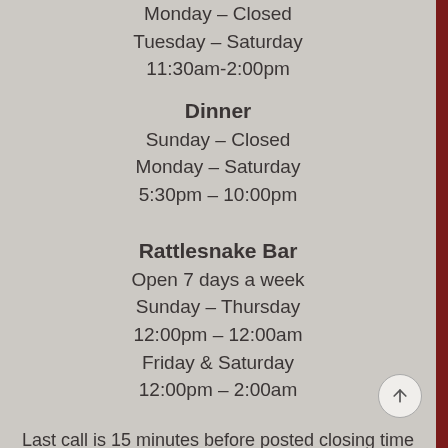Monday – Closed
Tuesday – Saturday
11:30am-2:00pm
Dinner
Sunday – Closed
Monday – Saturday
5:30pm – 10:00pm
Rattlesnake Bar
Open 7 days a week
Sunday – Thursday
12:00pm – 12:00am
Friday & Saturday
12:00pm – 2:00am
Last call is 15 minutes before posted closing time
Reservations Strongly Recommended for Restaurant